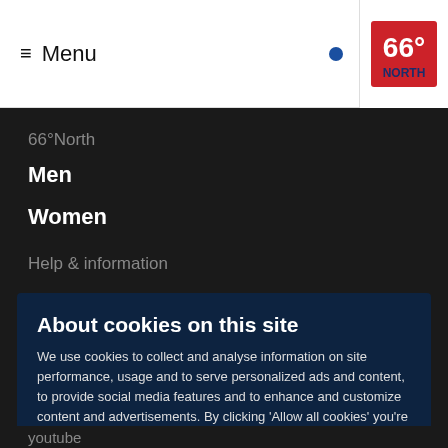≡ Menu • 66° NORTH
66°North
Men
Women
Help & information
About cookies on this site
We use cookies to collect and analyse information on site performance, usage and to serve personalized ads and content, to provide social media features and to enhance and customize content and advertisements. By clicking 'Allow all cookies' you're agreeing to our Privacy and Cookie Policy.Learn more
Allow all cookies
Cookie settings
Youtube